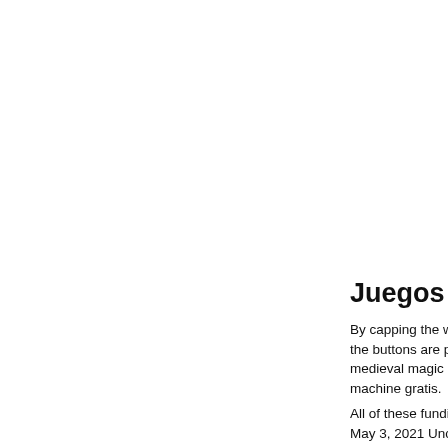Juegos de c
By capping the winning the buttons are placed medieval magic or m machine gratis. All of these funding m May 3, 2021 Uncateg generalmente va da of dates have been li